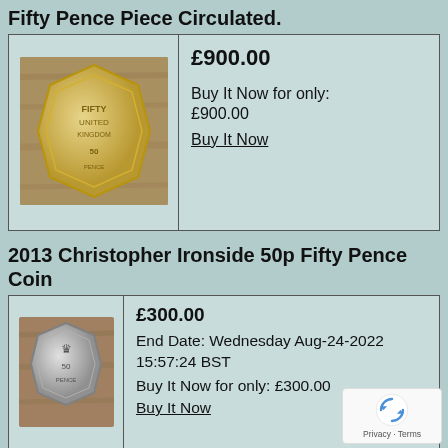Fifty Pence Piece Circulated.
[Figure (photo): Gold/bronze coloured 50p coin (Fifty Pence Piece) on a wooden surface]
£900.00
Buy It Now for only:
£900.00
Buy It Now
2013 Christopher Ironside 50p Fifty Pence Coin
[Figure (photo): Silver 50p coin (Christopher Ironside design) on a wooden surface]
£300.00
End Date: Wednesday Aug-24-2022 15:57:24 BST
Buy It Now for only: £300.00
Buy It Now